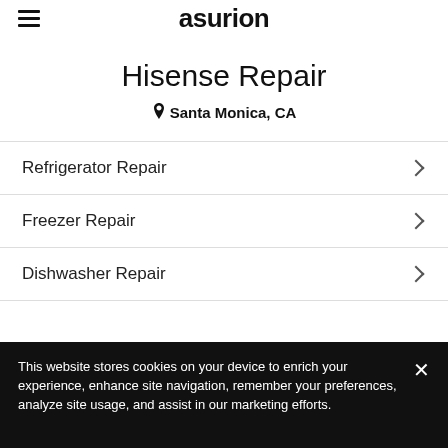asurion
Hisense Repair
📍 Santa Monica, CA
Refrigerator Repair
Freezer Repair
Dishwasher Repair
This website stores cookies on your device to enrich your experience, enhance site navigation, remember your preferences, analyze site usage, and assist in our marketing efforts.